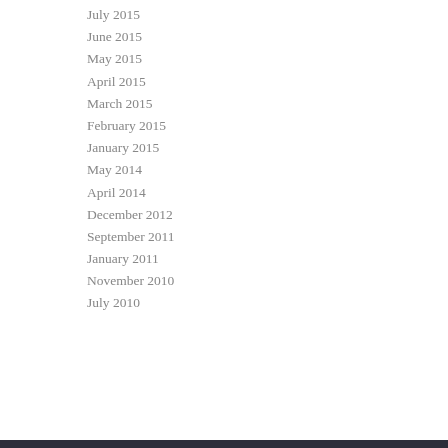July 2015
June 2015
May 2015
April 2015
March 2015
February 2015
January 2015
May 2014
April 2014
December 2012
September 2011
January 2011
November 2010
July 2010